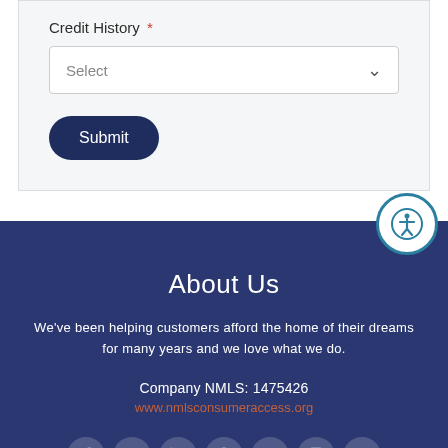Credit History *
Select
Submit
About Us
We've been helping customers afford the home of their dreams for many years and we love what we do.
Company NMLS: 1475426
www.nmlsconsumeraccess.org
[Figure (infographic): Row of 7 social media icons: Facebook, Twitter, LinkedIn, Yelp, Google+, Instagram, Zillow]